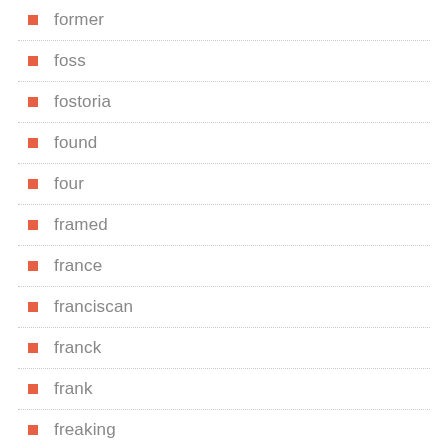former
foss
fostoria
found
four
framed
france
franciscan
franck
frank
freaking